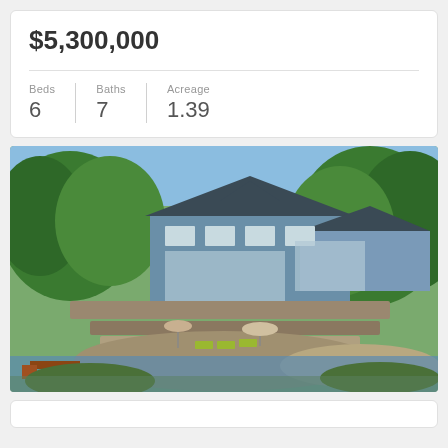$5,300,000
| Beds | Baths | Acreage |
| --- | --- | --- |
| 6 | 7 | 1.39 |
[Figure (photo): Aerial view of a large lakefront home surrounded by trees, with stone retaining walls, outdoor seating area with lounge chairs and umbrellas, and a dock visible at the water's edge.]